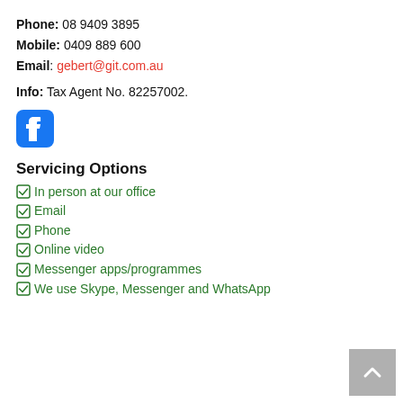Phone: 08 9409 3895
Mobile: 0409 889 600
Email: gebert@git.com.au
Info: Tax Agent No. 82257002.
[Figure (logo): Facebook icon — blue rounded square with white 'f' logo]
Servicing Options
In person at our office
Email
Phone
Online video
Messenger apps/programmes
We use Skype, Messenger and WhatsApp